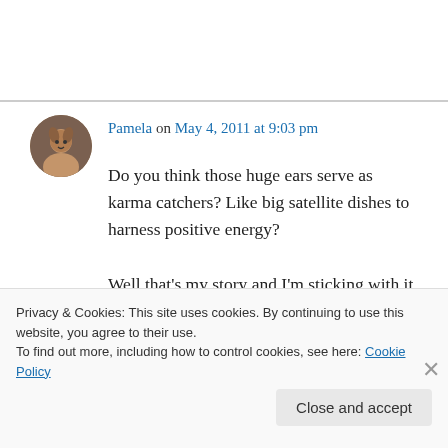[Figure (illustration): Circular avatar/profile photo of a person, brownish tones]
Pamela on May 4, 2011 at 9:03 pm
Do you think those huge ears serve as karma catchers? Like big satellite dishes to harness positive energy?

Well that's my story and I'm sticking with it.

Hope Gonzo has his own happy adoption story soon.
Privacy & Cookies: This site uses cookies. By continuing to use this website, you agree to their use.
To find out more, including how to control cookies, see here: Cookie Policy